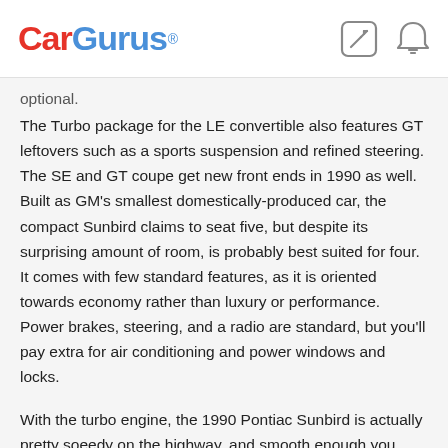CarGurus®
optional.
The Turbo package for the LE convertible also features GT leftovers such as a sports suspension and refined steering. The SE and GT coupe get new front ends in 1990 as well. Built as GM's smallest domestically-produced car, the compact Sunbird claims to seat five, but despite its surprising amount of room, is probably best suited for four. It comes with few standard features, as it is oriented towards economy rather than luxury or performance. Power brakes, steering, and a radio are standard, but you'll pay extra for air conditioning and power windows and locks.
With the turbo engine, the 1990 Pontiac Sunbird is actually pretty soeedy on the highway, and smooth enough you don't realize how fast you're going, say owners. Gas